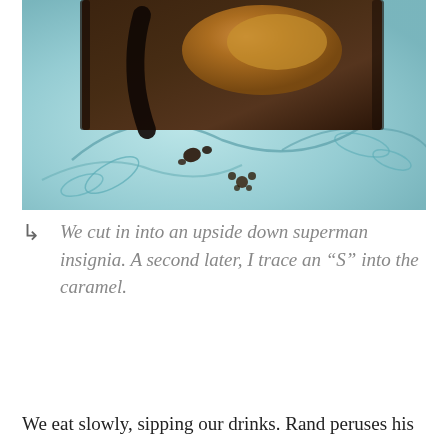[Figure (photo): Close-up photo of a chocolate brownie with caramel filling on a decorative floral plate with teal/light blue pattern]
We cut in into an upside down superman insignia. A second later, I trace an “S” into the caramel.
We eat slowly, sipping our drinks. Rand peruses his